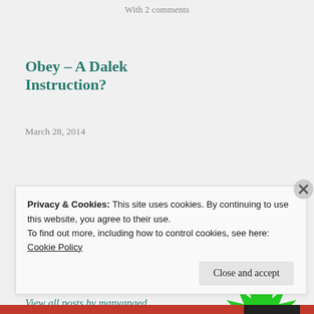With 2 comments
Obey – A Dalek Instruction?
March 28, 2014
Published by manyanaed
View all posts by manyanaed
[Figure (logo): Green spiky star/burst shaped avatar logo]
Privacy & Cookies: This site uses cookies. By continuing to use this website, you agree to their use.
To find out more, including how to control cookies, see here: Cookie Policy
Close and accept